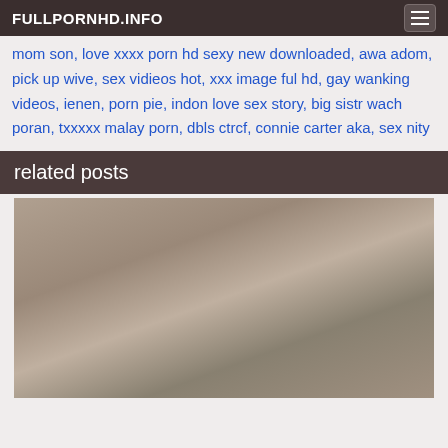FULLPORNHD.INFO
mom son, love xxxx porn hd sexy new downloaded, awa adom, pick up wive, sex vidieos hot, xxx image ful hd, gay wanking videos, ienen, porn pie, indon love sex story, big sistr wach poran, txxxxx malay porn, dbls ctrcf, connie carter aka, sex nity
related posts
[Figure (photo): Related post thumbnail image showing adult content]